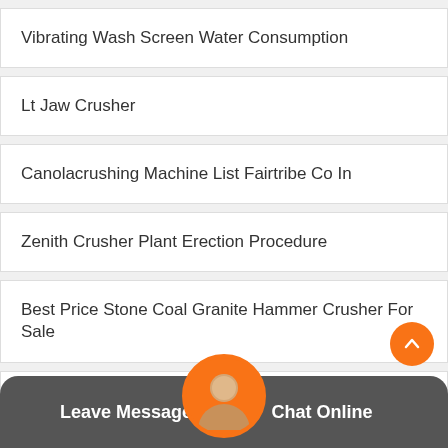Vibrating Wash Screen Water Consumption
Lt Jaw Crusher
Canolacrushing Machine List Fairtribe Co In
Zenith Crusher Plant Erection Procedure
Best Price Stone Coal Granite Hammer Crusher For Sale
Company Of Magnetic Separator In India Or Malaysia
Silver Ore Milling Plant
Leave Message
Chat Online